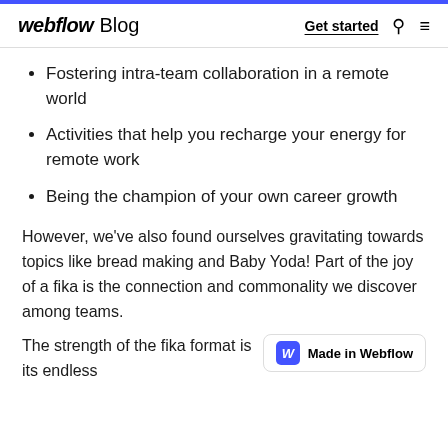webflow Blog | Get started
Fostering intra-team collaboration in a remote world
Activities that help you recharge your energy for remote work
Being the champion of your own career growth
However, we've also found ourselves gravitating towards topics like bread making and Baby Yoda! Part of the joy of a fika is the connection and commonality we discover among teams.
The strength of the fika format is its endless